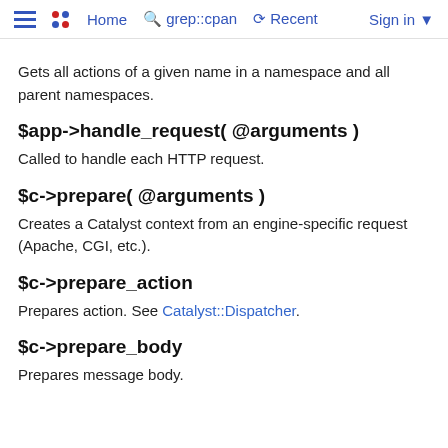Home  grep::cpan  Recent  Sign in
Gets all actions of a given name in a namespace and all parent namespaces.
$app->handle_request( @arguments )
Called to handle each HTTP request.
$c->prepare( @arguments )
Creates a Catalyst context from an engine-specific request (Apache, CGI, etc.).
$c->prepare_action
Prepares action. See Catalyst::Dispatcher.
$c->prepare_body
Prepares message body.